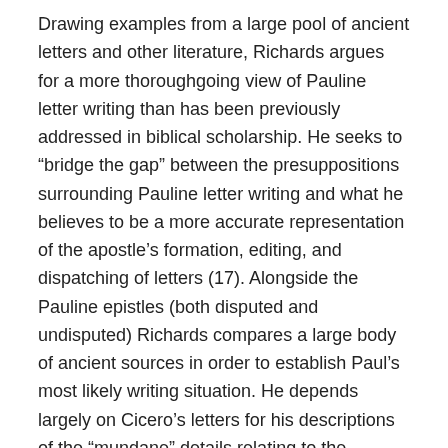Drawing examples from a large pool of ancient letters and other literature, Richards argues for a more thoroughgoing view of Pauline letter writing than has been previously addressed in biblical scholarship. He seeks to “bridge the gap” between the presuppositions surrounding Pauline letter writing and what he believes to be a more accurate representation of the apostle’s formation, editing, and dispatching of letters (17). Alongside the Pauline epistles (both disputed and undisputed) Richards compares a large body of ancient sources in order to establish Paul’s most likely writing situation. He depends largely on Cicero’s letters for his descriptions of the “mundane” details relating to the mechanics, composition, and delivery of ancient letters (15). Richards draws from other ancient letters as well